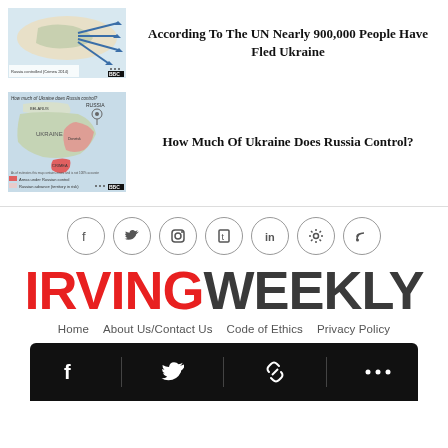[Figure (map): Map showing Ukraine refugee/migration routes thumbnail]
According To The UN Nearly 900,000 People Have Fled Ukraine
[Figure (map): Map showing Russian-controlled territories in Ukraine]
How Much Of Ukraine Does Russia Control?
[Figure (other): Social media icons row: Facebook, Twitter, Instagram, Tumblr, LinkedIn, Settings/Gear, RSS]
[Figure (logo): Irving Weekly logo — IRVING in red, WEEKLY in dark gray]
Home   About Us/Contact Us   Code of Ethics   Privacy Policy
[Figure (other): Bottom black bar with Facebook, Twitter, link, and more icons]